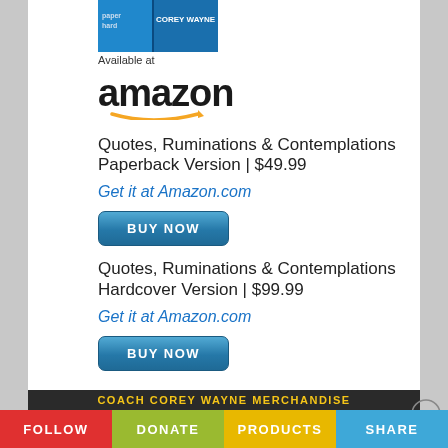[Figure (illustration): Book cover cropped image showing 'COREY WAYNE' text on a blue book cover]
Available at
[Figure (logo): Amazon logo with smile arrow beneath]
Quotes, Ruminations & Contemplations
Paperback Version | $49.99
Get it at Amazon.com
BUY NOW
Quotes, Ruminations & Contemplations
Hardcover Version | $99.99
Get it at Amazon.com
BUY NOW
COACH COREY WAYNE MERCHANDISE
FOLLOW   DONATE   PRODUCTS   SHARE